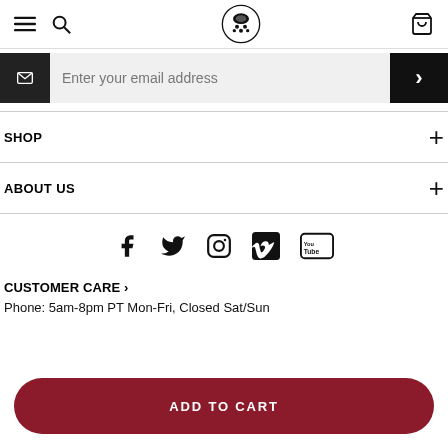Navigation bar with hamburger menu, search, logo, and cart icons
Enter your email address
SHOP
ABOUT US
[Figure (infographic): Social media icons row: Facebook, Twitter, Instagram, Vimeo, YouTube]
CUSTOMER CARE ›
Phone: 5am-8pm PT Mon-Fri, Closed Sat/Sun
ADD TO CART